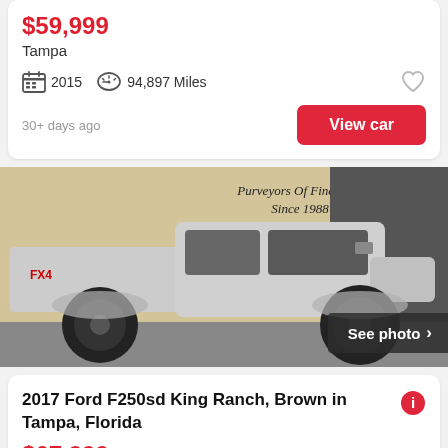$59,999
Tampa
2015   94,897 Miles
30+ days ago
View car
[Figure (photo): Side profile of a lifted white/silver Ford F-250 King Ranch pickup truck parked in front of a building with sign reading 'Purveyors Of Fine Cars Since 1988']
See photo >
2017 Ford F250sd King Ranch, Brown in Tampa, Florida
$67,999
Tampa